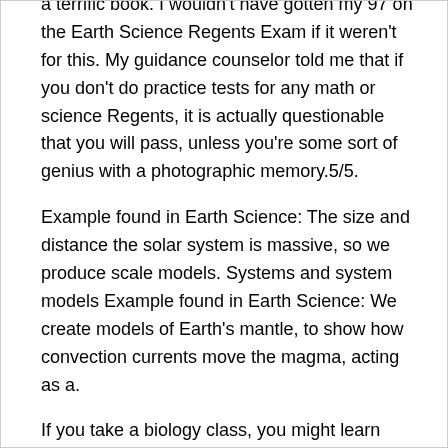a terrific book. I wouldn't have gotten my 97 on the Earth Science Regents Exam if it weren't for this. My guidance counselor told me that if you don't do practice tests for any math or science Regents, it is actually questionable that you will pass, unless you're some sort of genius with a photographic memory.5/5.
Example found in Earth Science: The size and distance the solar system is massive, so we produce scale models. Systems and system models Example found in Earth Science: We create models of Earth's mantle, to show how convection currents move the magma, acting as a.
If you take a biology class, you might learn about your genetic material (DNA) or about how you digest your lunch!Earth science Earth science is the study of Earth's processes and is the main focus of this book.
Branches of earth science include geology, astronomy, meteorology, and oceanography. Looking to place an order or learn more about Pearson's Science products.